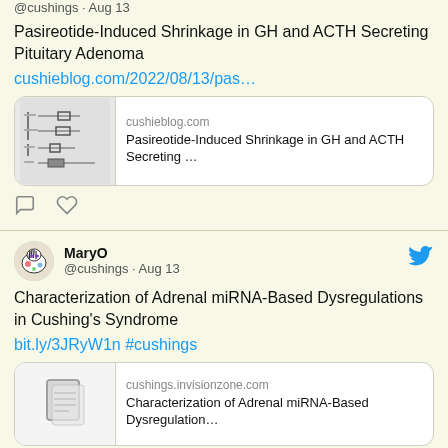@cushings · Aug 13
Pasireotide-Induced Shrinkage in GH and ACTH Secreting Pituitary Adenoma
cushieblog.com/2022/08/13/pas…
[Figure (screenshot): Link preview card showing cushieblog.com with thumbnail of a forest plot/table and title: Pasireotide-Induced Shrinkage in GH and ACTH Secreting …]
MaryO @cushings · Aug 13
Characterization of Adrenal miRNA-Based Dysregulations in Cushing's Syndrome
bit.ly/3JRyW1n #cushings
[Figure (screenshot): Link preview card showing cushings.invisionzone.com with document icon and title: Characterization of Adrenal miRNA-Based Dysregulation…]